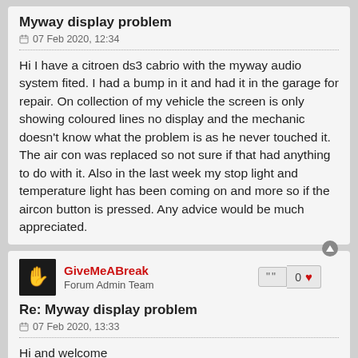Myway display problem
07 Feb 2020, 12:34
Hi I have a citroen ds3 cabrio with the myway audio system fited. I had a bump in it and had it in the garage for repair. On collection of my vehicle the screen is only showing coloured lines no display and the mechanic doesn't know what the problem is as he never touched it. The air con was replaced so not sure if that had anything to do with it. Also in the last week my stop light and temperature light has been coming on and more so if the aircon button is pressed. Any advice would be much appreciated.
GiveMeABreak
Forum Admin Team
Re: Myway display problem
07 Feb 2020, 13:33
Hi and welcome